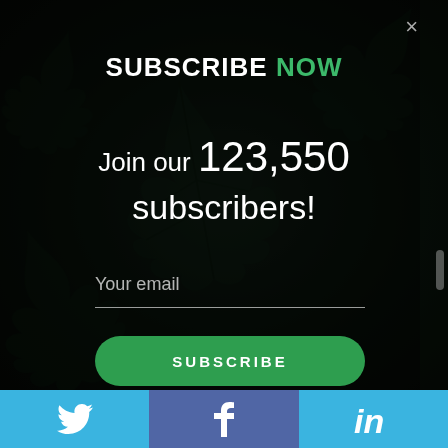[Figure (screenshot): Dark green cannabis leaf background with semi-transparent dark overlay forming a modal popup]
SUBSCRIBE NOW
Join our 123,550 subscribers!
Your email
SUBSCRIBE
[Figure (infographic): Social media footer bar with Twitter (blue), Facebook (dark blue/purple), and LinkedIn (blue) icons]